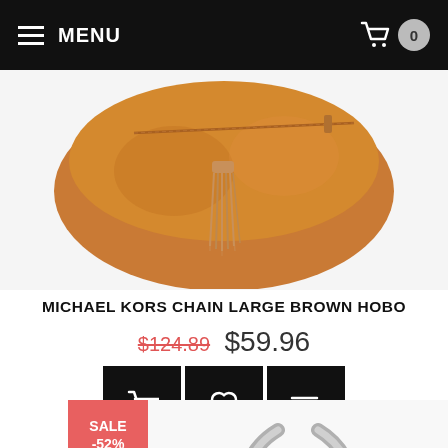MENU   0
[Figure (photo): Orange/tan leather Michael Kors hobo bag with tassel detail, shown from the front against white background]
MICHAEL KORS CHAIN LARGE BROWN HOBO
$124.89  $59.96
[Figure (infographic): Three black action buttons: shopping basket icon, heart/wishlist icon, and compare/list icon]
[Figure (photo): Partial view of a second handbag with silver/metallic handles against white background, with SALE -52% badge overlay]